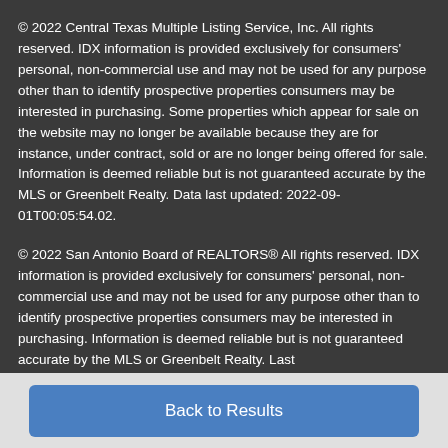© 2022 Central Texas Multiple Listing Service, Inc. All rights reserved. IDX information is provided exclusively for consumers' personal, non-commercial use and may not be used for any purpose other than to identify prospective properties consumers may be interested in purchasing. Some properties which appear for sale on the website may no longer be available because they are for instance, under contract, sold or are no longer being offered for sale. Information is deemed reliable but is not guaranteed accurate by the MLS or Greenbelt Realty. Data last updated: 2022-09-01T00:05:54.02.
© 2022 San Antonio Board of REALTORS® All rights reserved. IDX information is provided exclusively for consumers' personal, non-commercial use and may not be used for any purpose other than to identify prospective properties consumers may be interested in purchasing. Information is deemed reliable but is not guaranteed accurate by the MLS or Greenbelt Realty. Last
Back to Results